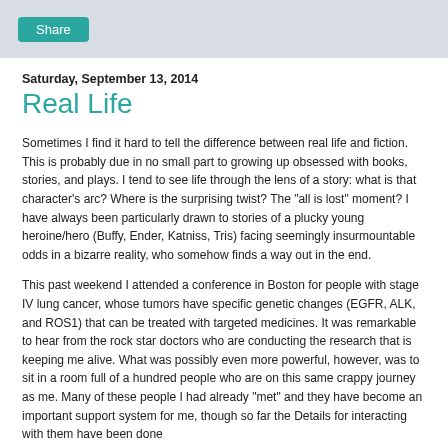Share
Saturday, September 13, 2014
Real Life
Sometimes I find it hard to tell the difference between real life and fiction. This is probably due in no small part to growing up obsessed with books, stories, and plays. I tend to see life through the lens of a story: what is that character's arc? Where is the surprising twist? The "all is lost" moment? I have always been particularly drawn to stories of a plucky young heroine/hero (Buffy, Ender, Katniss, Tris) facing seemingly insurmountable odds in a bizarre reality, who somehow finds a way out in the end.
This past weekend I attended a conference in Boston for people with stage IV lung cancer, whose tumors have specific genetic changes (EGFR, ALK, and ROS1) that can be treated with targeted medicines. It was remarkable to hear from the rock star doctors who are conducting the research that is keeping me alive. What was possibly even more powerful, however, was to sit in a room full of a hundred people who are on this same crappy journey as me. Many of these people I had already "met" and they have become an important support system for me, though so far the Details for interacting with them have been done...